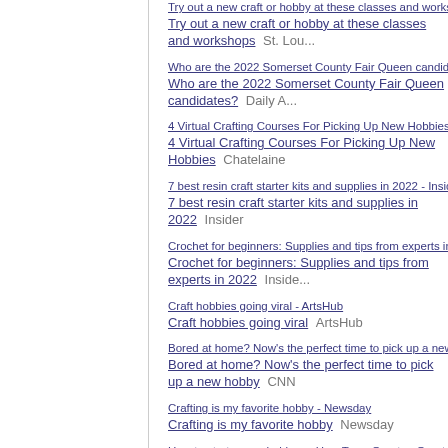Try out a new craft or hobby at these classes and workshops - St. Lou... / Try out a new craft or hobby at these classes and workshops  St. Lou...
Who are the 2022 Somerset County Fair Queen candidates? - Daily A... / Who are the 2022 Somerset County Fair Queen candidates?  Daily A...
4 Virtual Crafting Courses For Picking Up New Hobbies - Chatelaine / 4 Virtual Crafting Courses For Picking Up New Hobbies  Chatelaine
7 best resin craft starter kits and supplies in 2022 - Insider / 7 best resin craft starter kits and supplies in 2022  Insider
Crochet for beginners: Supplies and tips from experts in 2022 - Inside... / Crochet for beginners: Supplies and tips from experts in 2022  Inside...
Craft hobbies going viral - ArtsHub / Craft hobbies going viral  ArtsHub
Bored at home? Now's the perfect time to pick up a new hobby - CNN / Bored at home? Now's the perfect time to pick up a new hobby  CNN
Crafting is my favorite hobby - Newsday / Crafting is my favorite hobby  Newsday
How to start a new hobby — How To — Quartz - Quartz